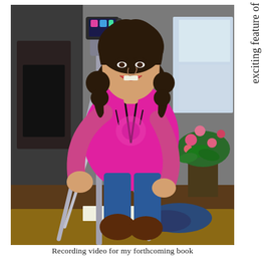[Figure (photo): A woman with curly dark hair wearing a bright pink top and blue jeans sits in front of a camera on a tripod. There is a plant with pink flowers visible to the right, and blue shoes on a table in the foreground. The setting appears to be a home interior.]
Recording video for my forthcoming book
exciting feature of